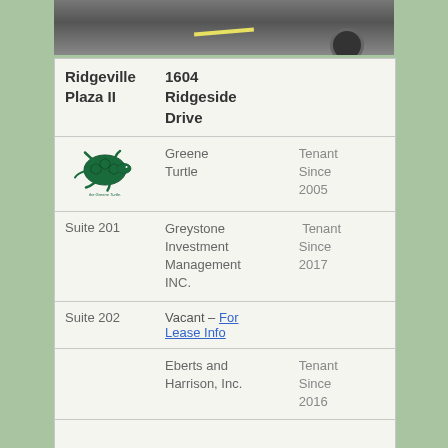[Figure (photo): Exterior photo of a parking lot with a car visible, likely the Ridgeville Plaza II property]
|  |  |  |
| --- | --- | --- |
| Ridgeville Plaza II | 1604 Ridgeside Drive |  |
| [Greene Turtle Logo] | Greene Turtle | Tenant Since 2005 |
| Suite 201 | Greystone Investment Management INC. | Tenant Since 2017 |
| Suite 202 | Vacant – For Lease Info |  |
|  | Eberts and Harrison, Inc. | Tenant Since 2016 |